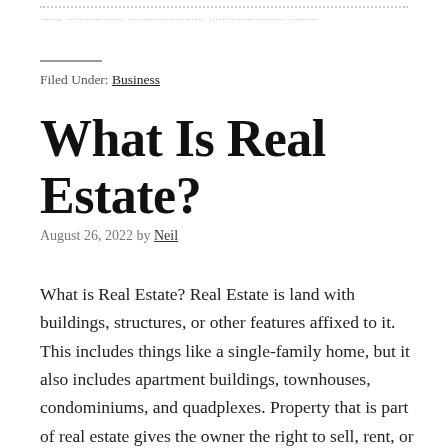…… …………… …………………… ………………… ………
Filed Under: Business
What Is Real Estate?
August 26, 2022 by Neil
What is Real Estate? Real Estate is land with buildings, structures, or other features affixed to it. This includes things like a single-family home, but it also includes apartment buildings, townhouses, condominiums, and quadplexes. Property that is part of real estate gives the owner the right to sell, rent, or lease space. Other types of real estate include